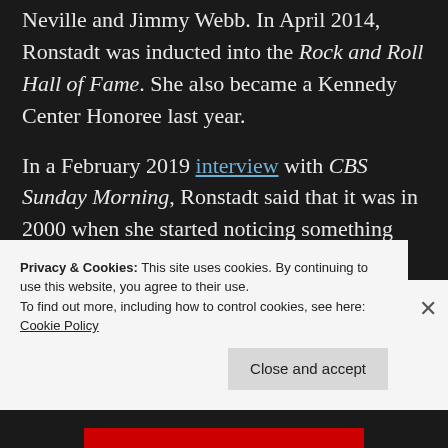Neville and Jimmy Webb. In April 2014, Ronstadt was inducted into the Rock and Roll Hall of Fame. She also became a Kennedy Center Honoree last year.
In a February 2019 interview with CBS Sunday Morning, Ronstadt said that it was in 2000 when she started noticing something was wrong with her voice. “I would start to sing and it would start clamp up. It was like a cramp. It was like a freeze…It’s very slow-moving this
Privacy & Cookies: This site uses cookies. By continuing to use this website, you agree to their use.
To find out more, including how to control cookies, see here:
Cookie Policy

Close and accept